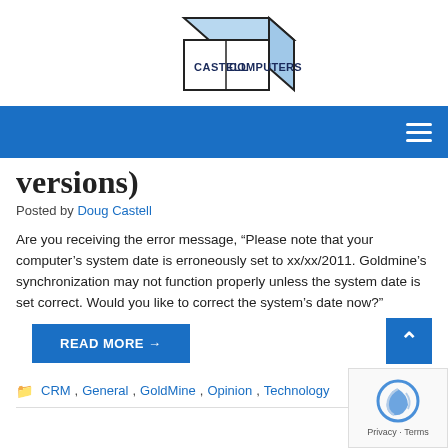[Figure (logo): Castell Computers logo — a 3D box shape with 'CASTELL COMPUTERS' text, light blue top face, white front, dark border]
[Figure (screenshot): Blue navigation bar with hamburger menu icon on the right]
versions)
Posted by Doug Castell
Are you receiving the error message, “Please note that your computer’s system date is erroneously set to xx/xx/2011. Goldmine’s synchronization may not function properly unless the system date is set correct. Would you like to correct the system’s date now?”
READ MORE →
CRM, General, GoldMine, Opinion, Technology